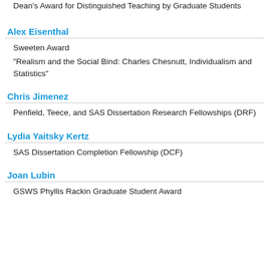Dean's Award for Distinguished Teaching by Graduate Students
Alex Eisenthal
Sweeten Award
"Realism and the Social Bind: Charles Chesnutt, Individualism and Statistics"
Chris Jimenez
Penfield, Teece, and SAS Dissertation Research Fellowships (DRF)
Lydia Yaitsky Kertz
SAS Dissertation Completion Fellowship (DCF)
Joan Lubin
GSWS Phyllis Rackin Graduate Student Award